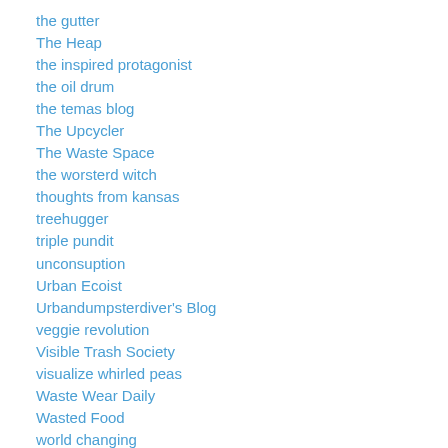the gutter
The Heap
the inspired protagonist
the oil drum
the temas blog
The Upcycler
The Waste Space
the worsterd witch
thoughts from kansas
treehugger
triple pundit
unconsuption
Urban Ecoist
Urbandumpsterdiver's Blog
veggie revolution
Visible Trash Society
visualize whirled peas
Waste Wear Daily
Wasted Food
world changing